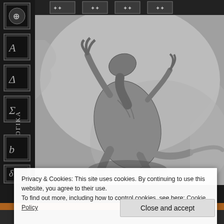[Figure (illustration): Grayscale book or magazine cover featuring a monster/creature (dinosaur-like) rearing up on its hind legs with claws raised, against a light rocky background. Left side has a dark decorative spine with ornamental boxes. Top has a row of ornamental header boxes.]
Privacy & Cookies: This site uses cookies. By continuing to use this website, you agree to their use.
To find out more, including how to control cookies, see here: Cookie Policy
Close and accept